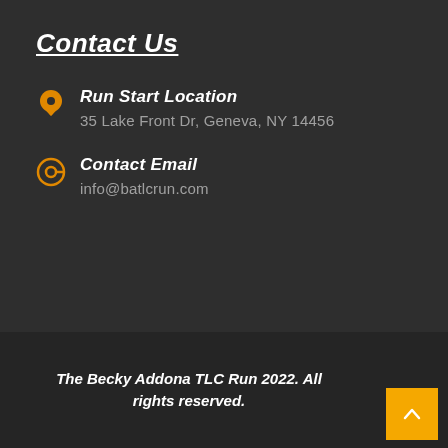Contact Us
Run Start Location
35 Lake Front Dr, Geneva, NY 14456
Contact Email
info@batlcrun.com
The Becky Addona TLC Run 2022. All rights reserved.